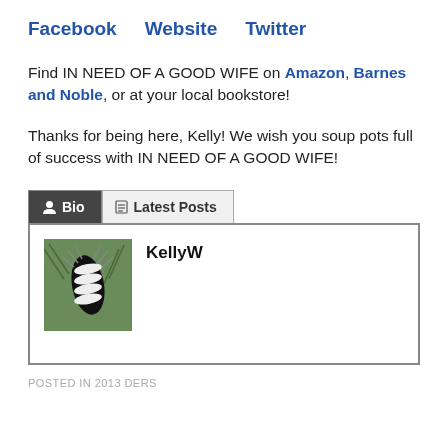Facebook   Website   Twitter
Find IN NEED OF A GOOD WIFE on Amazon, Barnes and Noble, or at your local bookstore!
Thanks for being here, Kelly! We wish you soup pots full of success with IN NEED OF A GOOD WIFE!
[Figure (screenshot): Bio and Latest Posts tabs with a bio box containing a caterpillar photo and the username KellyW]
POSTED IN 2013 DERS